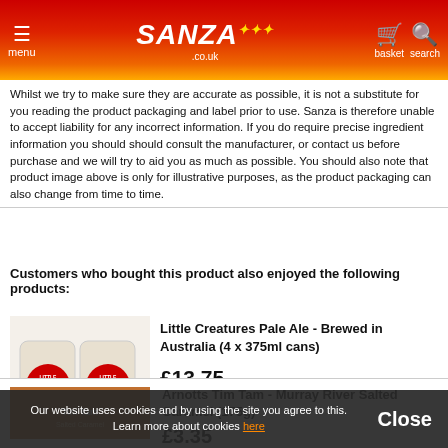menu | SANZA .co.uk | basket | search
Whilst we try to make sure they are accurate as possible, it is not a substitute for you reading the product packaging and label prior to use. Sanza is therefore unable to accept liability for any incorrect information. If you do require precise ingredient information you should should consult the manufacturer, or contact us before purchase and we will try to aid you as much as possible. You should also note that product image above is only for illustrative purposes, as the product packaging can also change from time to time.
Customers who bought this product also enjoyed the following products:
[Figure (photo): Little Creatures Pale Ale 4-pack cans product image]
Little Creatures Pale Ale - Brewed in Australia (4 x 375ml cans)
£13.75
Best Before 3 November 2022
(more info)
Arnotts Tim Tam - Murray River Salted Caramel (175g)
[Figure (photo): Arnotts Tim Tam product image (partially visible)]
£3.35
Our website uses cookies and by using the site you agree to this. Learn more about cookies here  Close